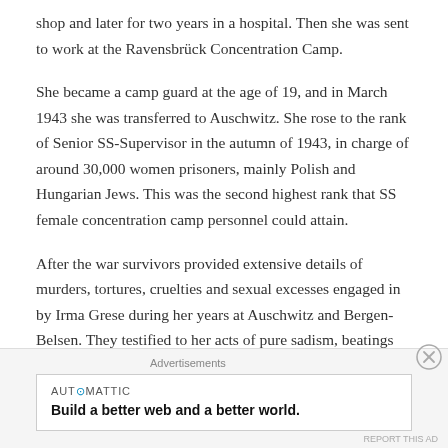shop and later for two years in a hospital. Then she was sent to work at the Ravensbrück Concentration Camp.
She became a camp guard at the age of 19, and in March 1943 she was transferred to Auschwitz. She rose to the rank of Senior SS-Supervisor in the autumn of 1943, in charge of around 30,000 women prisoners, mainly Polish and Hungarian Jews. This was the second highest rank that SS female concentration camp personnel could attain.
After the war survivors provided extensive details of murders, tortures, cruelties and sexual excesses engaged in by Irma Grese during her years at Auschwitz and Bergen-Belsen. They testified to her acts of pure sadism, beatings and arbitrary shooting of prisoners, savaging of
Advertisements
[Figure (other): Advertisement banner: AUTOMATTIC logo with tagline 'Build a better web and a better world.']